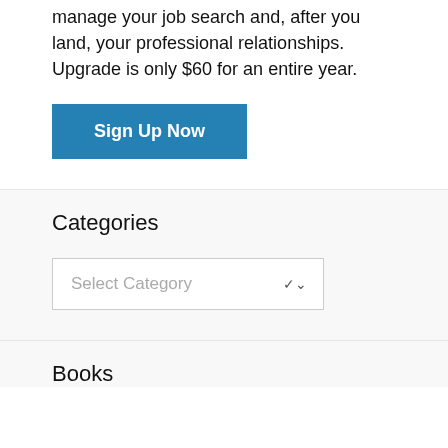manage your job search and, after you land, your professional relationships. Upgrade is only $60 for an entire year.
[Figure (other): Blue 'Sign Up Now' call-to-action button]
Categories
[Figure (other): Dropdown select box with placeholder text 'Select Category' and a down arrow]
Books